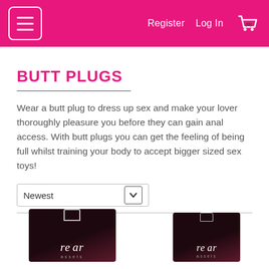Register  Log In  (0)
BUTT PLUGS
Wear a butt plug to dress up sex and make your lover thoroughly pleasure you before they can gain anal access. With butt plugs you can get the feeling of being full whilst training your body to accept bigger sized sex toys!
Newest
[Figure (photo): Two re'ar assets product boxes partially visible at the bottom of the page]